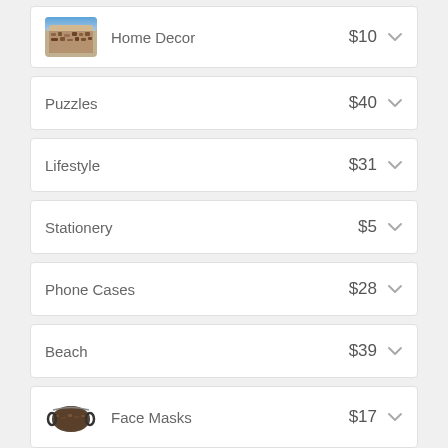Home Decor — $10
Puzzles — $40
Lifestyle — $31
Stationery — $5
Phone Cases — $28
Beach — $39
Face Masks — $17